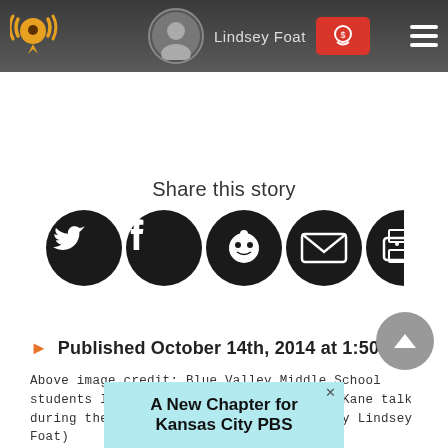Lindsey Foat
Share this story
[Figure (infographic): Social share icons: Twitter, Facebook, Reddit, Email, Print — black circles with white icons]
Published October 14th, 2014 at 1:50 PM
Above image credit: Blue Valley Middle School students listen to voice-over actor Tom Kane talk during their annual career day. (Photo by Lindsey Foat)
[Figure (infographic): Ad banner: A New Chapter for Kansas City PBS on light blue background]